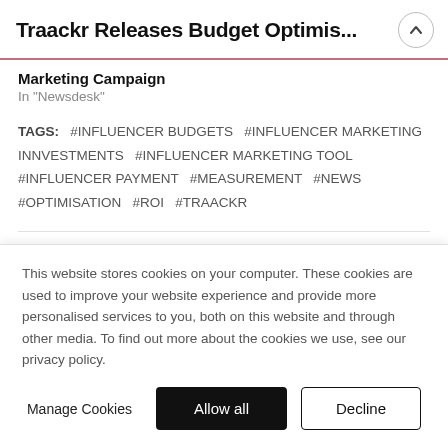Traackr Releases Budget Optimis...
Marketing Campaign
In "Newsdesk"
TAGS: #INFLUENCER BUDGETS #INFLUENCER MARKETING INNVESTMENTS #INFLUENCER MARKETING TOOL #INFLUENCER PAYMENT #MEASUREMENT #NEWS #OPTIMISATION #ROI #TRAACKR
Published by Josie Forrester
This website stores cookies on your computer. These cookies are used to improve your website experience and provide more personalised services to you, both on this website and through other media. To find out more about the cookies we use, see our privacy policy.
Manage Cookies | Allow all | Decline